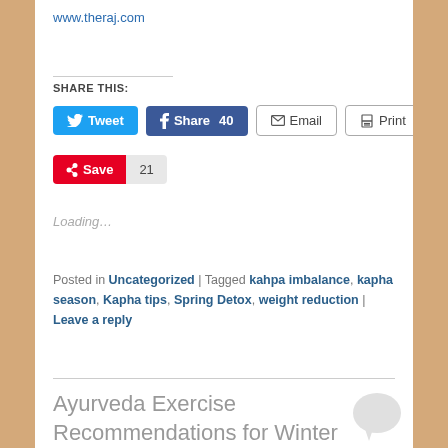www.theraj.com
SHARE THIS:
Tweet | Share 40 | Email | Print | Save 21
Loading...
Posted in Uncategorized | Tagged kahpa imbalance, kapha season, Kapha tips, Spring Detox, weight reduction | Leave a reply
Ayurveda Exercise Recommendations for Winter and Spring